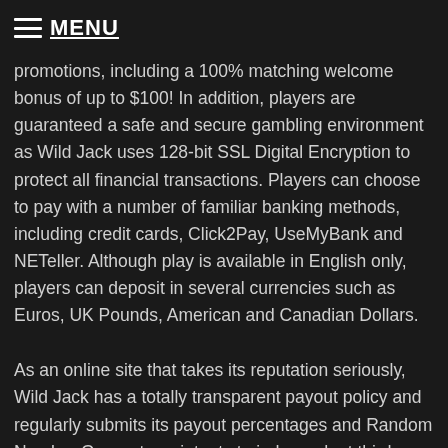MENU
promotions, including a 100% matching welcome bonus of up to $100! In addition, players are guaranteed a safe and secure gambling environment as Wild Jack uses 128-bit SSL Digital Encryption to protect all financial transactions. Players can choose to pay with a number of familiar banking methods, including credit cards, Click2Pay, UseMyBank and NETeller. Although play is available in English only, players can deposit in several currencies such as Euros, UK Pounds, American and Canadian Dollars.
As an online site that takes its reputation seriously, Wild Jack has a totally transparent payout policy and regularly submits its payout percentages and Random Number Generator printouts to independent third-party accountants for reviewing.  Wild Jack also invests a lot in its customer service department and offers players the option of contacting them through a variety of channels